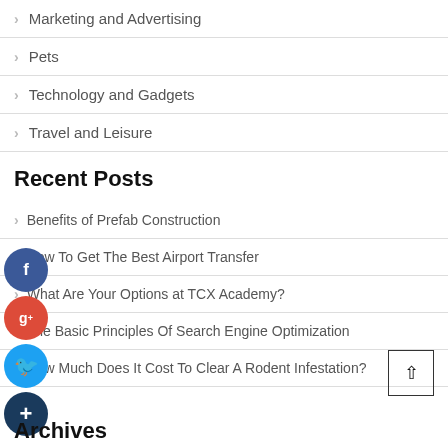Marketing and Advertising
Pets
Technology and Gadgets
Travel and Leisure
Recent Posts
Benefits of Prefab Construction
How To Get The Best Airport Transfer
What Are Your Options at TCX Academy?
The Basic Principles Of Search Engine Optimization
How Much Does It Cost To Clear A Rodent Infestation?
Archives